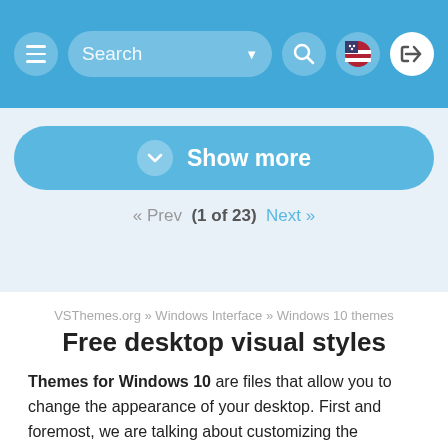[Figure (screenshot): Website navigation bar with hamburger menu, search box with dropdown arrow and search icon, flag icon, and login button]
[Figure (screenshot): Show more button (blue rounded pill button with chevron-down icon)]
« Prev  (1 of 23)  Next »
VSThemes.org » Windows Interface » Windows 10 themes
Free desktop visual styles
Themes for Windows 10 are files that allow you to change the appearance of your desktop. First and foremost, we are talking about customizing the appearance of Explorer windows and the taskbar (start menu). Not infrequently, themes include additional components. For example, icons or cursors, as well as pictures, start buttons or skins for programs. We suggest downloading free themes for Windows 10. There are already